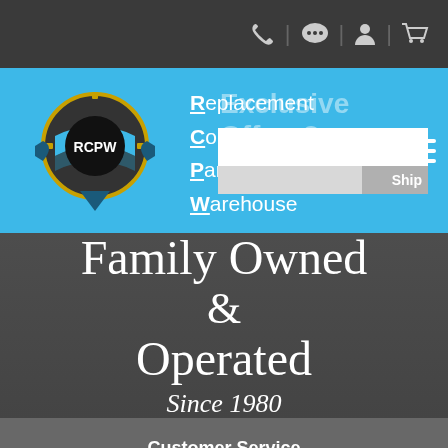[Figure (logo): RCPW logo - circular badge with gear border, blue ribbon banner, and RCPW text]
Replacement Commercial Parts Warehouse
Exclusive Offers?
[Figure (illustration): Family Owned & Operated Since 1980 script text on dark gray background]
Customer Service
Back Orders
How to Use Our Shopping Cart
Order Information